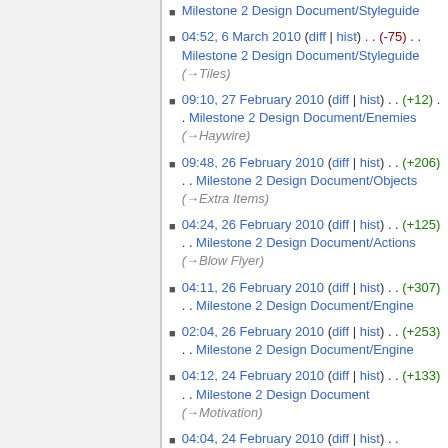Milestone 2 Design Document/Styleguide
04:52, 6 March 2010 (diff | hist) . . (-75) . . Milestone 2 Design Document/Styleguide (→Tiles)
09:10, 27 February 2010 (diff | hist) . . (+12) . . Milestone 2 Design Document/Enemies (→Haywire)
09:48, 26 February 2010 (diff | hist) . . (+206) . . Milestone 2 Design Document/Objects (→Extra Items)
04:24, 26 February 2010 (diff | hist) . . (+125) . . Milestone 2 Design Document/Actions (→Blow Flyer)
04:11, 26 February 2010 (diff | hist) . . (+307) . . Milestone 2 Design Document/Engine
02:04, 26 February 2010 (diff | hist) . . (+253) . . Milestone 2 Design Document/Engine
04:12, 24 February 2010 (diff | hist) . . (+133) . . Milestone 2 Design Document (→Motivation)
04:04, 24 February 2010 (diff | hist) . .